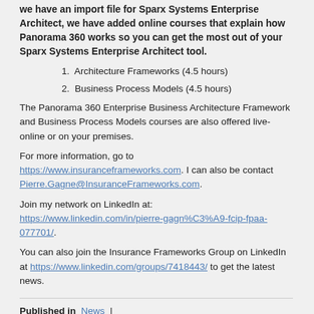we have an import file for Sparx Systems Enterprise Architect, we have added online courses that explain how Panorama 360 works so you can get the most out of your Sparx Systems Enterprise Architect tool.
1. Architecture Frameworks (4.5 hours)
2. Business Process Models (4.5 hours)
The Panorama 360 Enterprise Business Architecture Framework and Business Process Models courses are also offered live-online or on your premises.
For more information, go to https://www.insuranceframeworks.com. I can also be contact Pierre.Gagne@InsuranceFrameworks.com.
Join my network on LinkedIn at: https://www.linkedin.com/in/pierre-gagn%C3%A9-fcip-fpaa-077701/.
You can also join the Insurance Frameworks Group on LinkedIn at https://www.linkedin.com/groups/7418443/ to get the latest news.
Published in News | Tagged under
sparx ea
Business Architecture
enterprise architecture
insurance framework
insurance capability map